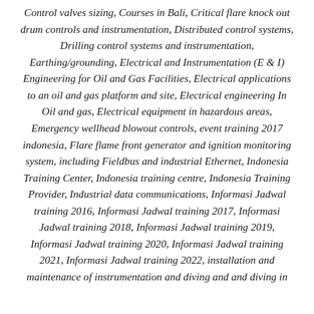Control valves sizing, Courses in Bali, Critical flare knock out drum controls and instrumentation, Distributed control systems, Drilling control systems and instrumentation, Earthing/grounding, Electrical and Instrumentation (E & I) Engineering for Oil and Gas Facilities, Electrical applications to an oil and gas platform and site, Electrical engineering In Oil and gas, Electrical equipment in hazardous areas, Emergency wellhead blowout controls, event training 2017 indonesia, Flare flame front generator and ignition monitoring system, including Fieldbus and industrial Ethernet, Indonesia Training Center, Indonesia training centre, Indonesia Training Provider, Industrial data communications, Informasi Jadwal training 2016, Informasi Jadwal training 2017, Informasi Jadwal training 2018, Informasi Jadwal training 2019, Informasi Jadwal training 2020, Informasi Jadwal training 2021, Informasi Jadwal training 2022, installation and maintenance of instrumentation and diving and and diving in